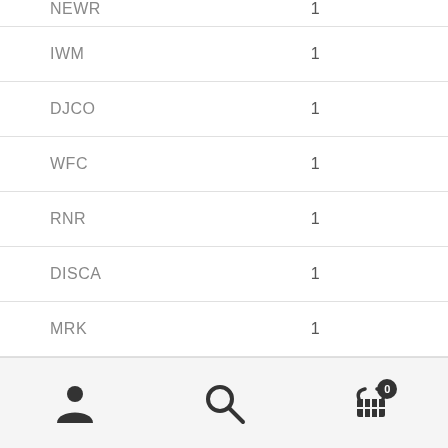| Ticker | Value |
| --- | --- |
| NEWR | 1 |
| IWM | 1 |
| DJCO | 1 |
| WFC | 1 |
| RNR | 1 |
| DISCA | 1 |
| MRK | 1 |
Navigation bar with person, search, and cart icons